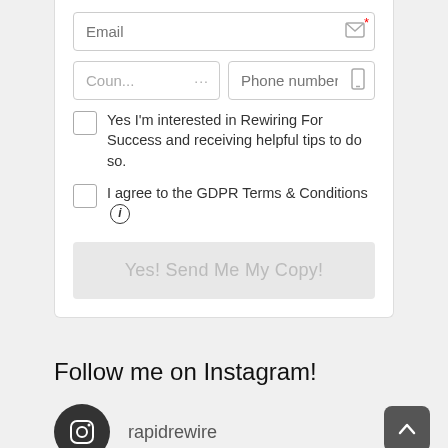Email (input field with required marker)
Coun... (country field) | Phone number if y... (phone field)
Yes I'm interested in Rewiring For Success and receiving helpful tips to do so.
I agree to the GDPR Terms & Conditions (info icon)
Yes! Send Me My Copy! (button)
Follow me on Instagram!
rapidrewire